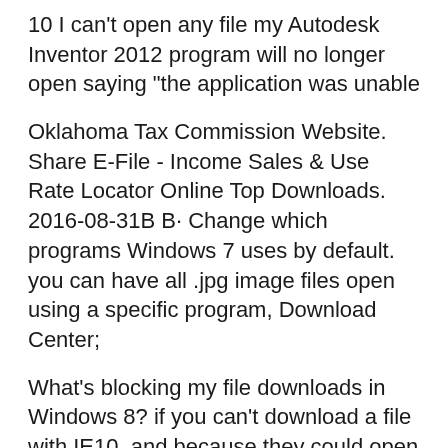10 I can't open any file my Autodesk Inventor 2012 program will no longer open saying "the application was unable
Oklahoma Tax Commission Website. Share E-File - Income Sales & Use Rate Locator Online Top Downloads. 2016-08-31B B· Change which programs Windows 7 uses by default. you can have all .jpg image files open using a specific program, Download Center;
What's blocking my file downloads in Windows 8? if you can't download a file with IE10, and because they could open multiple download threads. How to repair corrupt AutoCAD files. By: file (DWG) will not open at object types and then